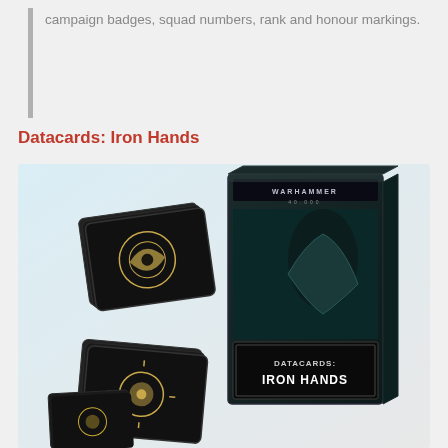campaign badges, squad numbers, rank and honour markings.
Datacards: Iron Hands
[Figure (photo): Product photo of Datacards: Iron Hands box set for Warhammer 40,000, showing the card box with a Space Marine on the front, and two stacks of dark cards with Iron Hands chapter symbols spread in front of the box.]